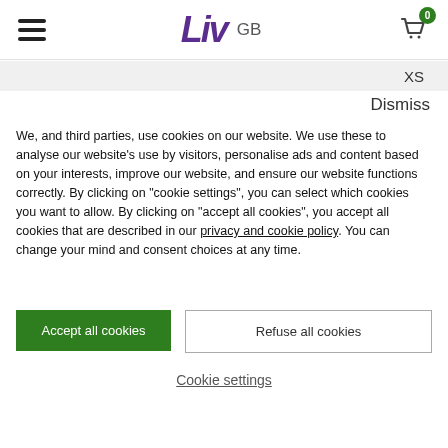Liv GB — navigation header with hamburger menu and cart icon (0 items)
XS
Dismiss
We, and third parties, use cookies on our website. We use these to analyse our website's use by visitors, personalise ads and content based on your interests, improve our website, and ensure our website functions correctly. By clicking on "cookie settings", you can select which cookies you want to allow. By clicking on "accept all cookies", you accept all cookies that are described in our privacy and cookie policy. You can change your mind and consent choices at any time.
Accept all cookies
Refuse all cookies
Cookie settings